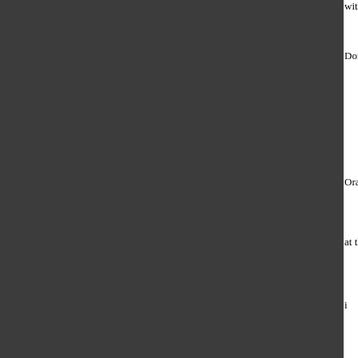with Pat Mulligan, Se...
Donnie
Oratorio
at the
i
SEE
https://www.fa
November
is perform
o
S
in U